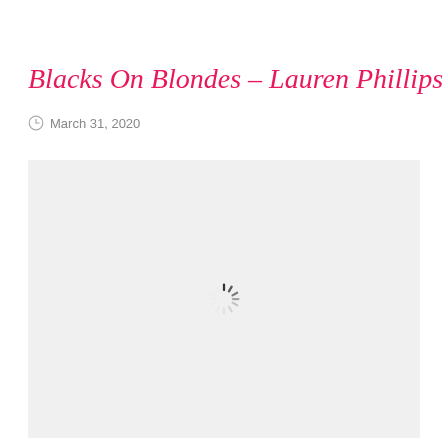Blacks On Blondes – Lauren Phillips
March 31, 2020
[Figure (other): Loading spinner / placeholder image area with light gray background and a spinning loader icon in the center]